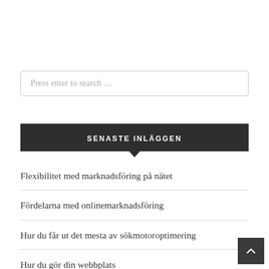Press enter to search …
SENASTE INLÄGGEN
Flexibilitet med marknadsföring på nätet
Fördelarna med onlinemarknadsföring
Hur du får ut det mesta av sökmotoroptimering
Hur du gör din webbplats